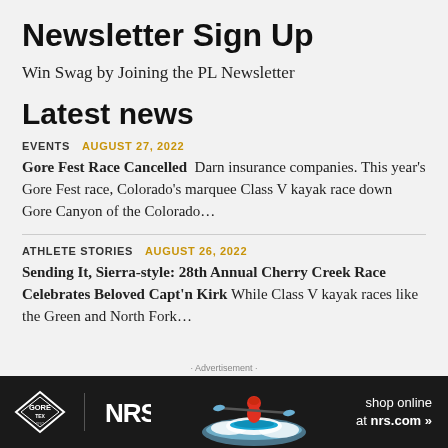Newsletter Sign Up
Win Swag by Joining the PL Newsletter
Latest news
EVENTS  AUGUST 27, 2022
Gore Fest Race Cancelled  Darn insurance companies. This year's Gore Fest race, Colorado's marquee Class V kayak race down Gore Canyon of the Colorado...
ATHLETE STORIES  AUGUST 26, 2022
Sending It, Sierra-style: 28th Annual Cherry Creek Race Celebrates Beloved Capt'n Kirk  While Class V kayak races like the Green and North Fork...
[Figure (photo): Advertisement banner: GORE-TEX Pro and NRS logos on dark background with kayaker in whitewater, text 'shop online at nrs.com']